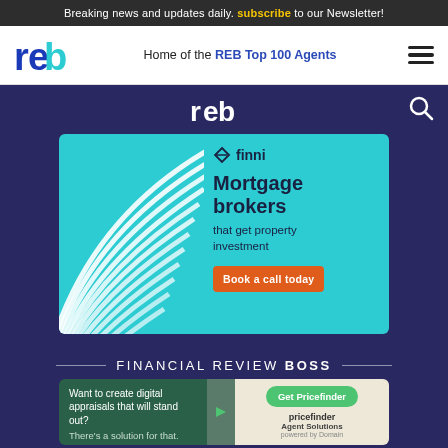Breaking news and updates daily. subscribe to our Newsletter!
[Figure (logo): REB logo in blue]
Home of the REB Top 100 Agents
[Figure (logo): Hamburger menu icon]
[Figure (logo): REB white logo on dark background]
[Figure (logo): Search icon]
[Figure (illustration): Finni mortgage brokers advertisement banner — light blue background with white wavy lines on left, text: Mortgage brokers that get property investment, Book a call today button]
FINANCIAL REVIEW BOSS
[Figure (illustration): Pricefinder Agent Solutions advertisement — green left side: Want to create digital appraisals that will stand out? There's a solution for that. Arrow. Get Pricefinder button. Pricefinder Agent Solutions logo on right.]